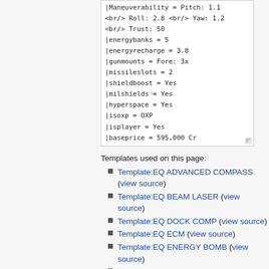|Maneuverability = Pitch: 1.1 <br/> Roll: 2.8 <br/> Yaw: 1.2 <br/> Trust: 50
|energybanks = 5
|energyrecharge = 3.8
|gunmounts = Fore: 3x
|missileslots = 2
|shieldboost = Yes
|milshields = Yes
|hyperspace = Yes
|isoxp = OXP
|isplayer = Yes
|baseprice = 595,000 Cr
Templates used on this page:
Template:EQ ADVANCED COMPASS (view source)
Template:EQ BEAM LASER (view source)
Template:EQ DOCK COMP (view source)
Template:EQ ECM (view source)
Template:EQ ENERGY BOMB (view source)
Template:EQ ENERGY UNIT (view source)
Template:EQ ESCAPE POD (view source)
Template:EQ FUEL INJECTION (view source)